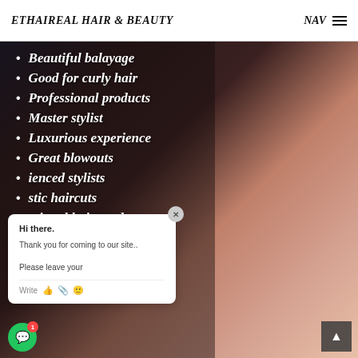ETHAIREAL HAIR & BEAUTY  NAV
Beautiful balayage
Good for curly hair
Professional products
Master stylist
Luxurious experience
Great blowouts
…ienced stylists
…stic haircuts
…ssional hair products
…e
[Figure (screenshot): Chat popup overlay with message: Hi there. Thank you for coming to our site.. Please leave your... Write [icons]]
[Figure (screenshot): Green circular chat trigger button with red notification badge showing '1', and dark back-to-top button with up arrow]